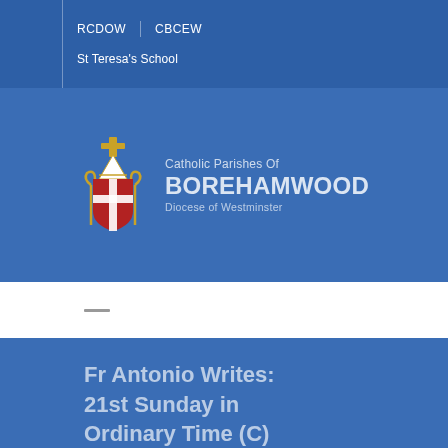RCDOW | CBCEW | St Teresa's School
[Figure (logo): Catholic Parishes of Borehamwood, Diocese of Westminster — crest logo with bishop's mitre and cross in red, gold and white, followed by text: 'Catholic Parishes Of BOREHAMWOOD Diocese of Westminster']
Fr Antonio Writes: 21st Sunday in Ordinary Time (C)